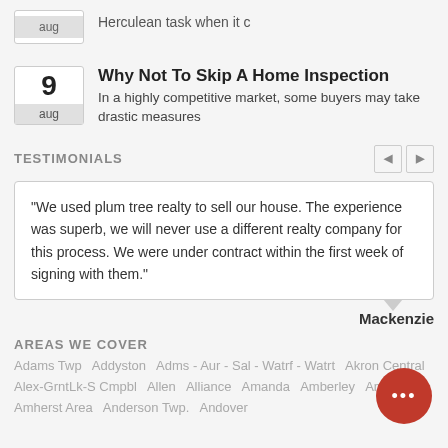[Figure (other): Date badge showing 'aug' month label only, partial article row at top]
Herculean task when it c
[Figure (other): Date badge with number 9 and 'aug' label]
Why Not To Skip A Home Inspection
In a highly competitive market, some buyers may take drastic measures
TESTIMONIALS
"We used plum tree realty to sell our house. The experience was superb, we will never use a different realty company for this process. We were under contract within the first week of signing with them."
Mackenzie
AREAS WE COVER
Adams Twp  Addyston  Adms - Aur - Sal - Watrf - Watrt  Akron Central  Alex-GrntLk-S Cmpbl  Allen  Alliance  Amanda  Amberley  Amelia  Amherst Area  Anderson Twp.  Andover